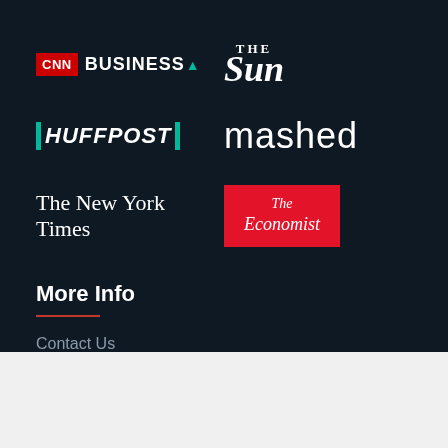[Figure (logo): CNN Business logo - red CNN box with white text and white BUSINESS text with teal arrow]
[Figure (logo): The Sun logo - italic white serif text with THE above Sun]
[Figure (logo): HuffPost logo - white italic bold text with teal vertical bars on sides]
[Figure (logo): mashed logo - white sans-serif text]
[Figure (logo): The New York Times logo - white serif text]
[Figure (logo): The Economist logo - white text on red background]
More Info
Contact Us
Terms of Use